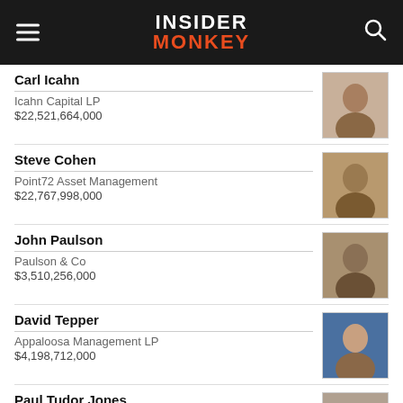INSIDER MONKEY
Carl Icahn | Icahn Capital LP | $22,521,664,000
Steve Cohen | Point72 Asset Management | $22,767,998,000
John Paulson | Paulson & Co | $3,510,256,000
David Tepper | Appaloosa Management LP | $4,198,712,000
Paul Tudor Jones